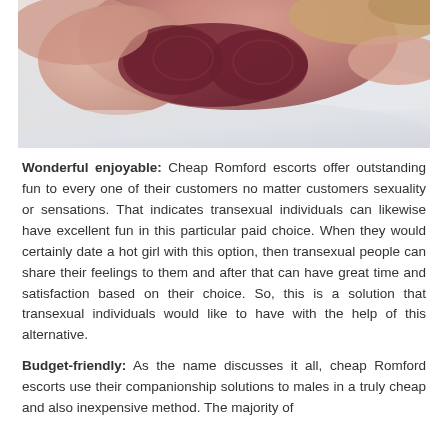[Figure (photo): A woman in dark lace lingerie lying on white bedding, photographed from above at close range.]
Wonderful enjoyable: Cheap Romford escorts offer outstanding fun to every one of their customers no matter customers sexuality or sensations. That indicates transexual individuals can likewise have excellent fun in this particular paid choice. When they would certainly date a hot girl with this option, then transexual people can share their feelings to them and after that can have great time and satisfaction based on their choice. So, this is a solution that transexual individuals would like to have with the help of this alternative.
Budget-friendly: As the name discusses it all, cheap Romford escorts use their companionship solutions to males in a truly cheap and also inexpensive method. The majority of